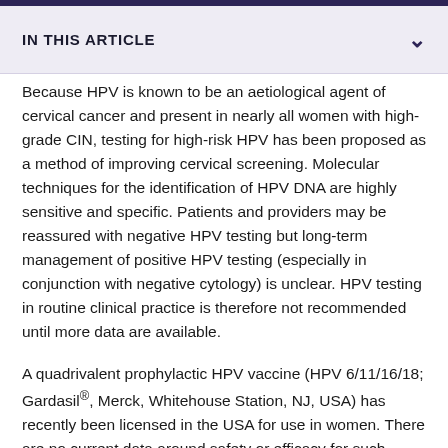IN THIS ARTICLE
Because HPV is known to be an aetiological agent of cervical cancer and present in nearly all women with high-grade CIN, testing for high-risk HPV has been proposed as a method of improving cervical screening. Molecular techniques for the identification of HPV DNA are highly sensitive and specific. Patients and providers may be reassured with negative HPV testing but long-term management of positive HPV testing (especially in conjunction with negative cytology) is unclear. HPV testing in routine clinical practice is therefore not recommended until more data are available.
A quadrivalent prophylactic HPV vaccine (HPV 6/11/16/18; Gardasil®, Merck, Whitehouse Station, NJ, USA) has recently been licensed in the USA for use in women. There are no current data around safety or efficacy for such vaccines in HIV-positive patients, and studies are awaited.